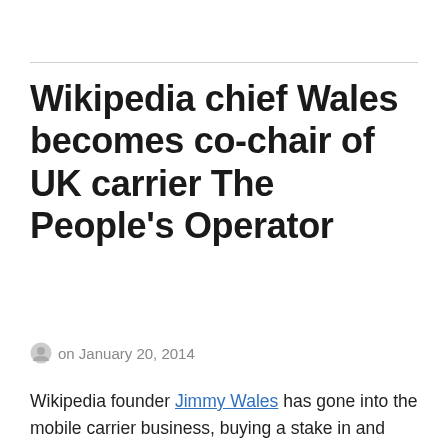Wikipedia chief Wales becomes co-chair of UK carrier The People's Operator
on January 20, 2014
Wikipedia founder Jimmy Wales has gone into the mobile carrier business, buying a stake in and becoming co-chair of The People's Operator. TPO, which is little more than a year old, is a community-oriented UK operator that passes 10 percent of customers' bills and 25 percent of